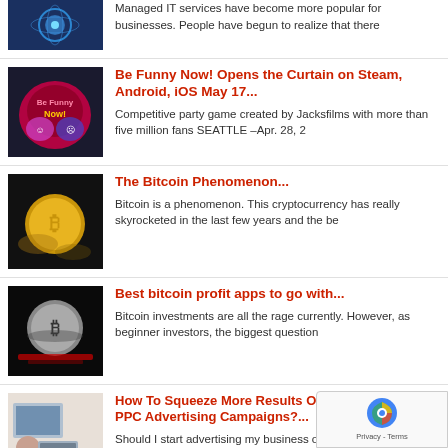[Figure (photo): Partial article thumbnail at top - tech/IT themed blue digital image]
Managed IT services have become more popular for businesses. People have begun to realize that there
[Figure (photo): Be Funny Now! logo - colorful neon theater masks on dark background]
Be Funny Now! Opens the Curtain on Steam, Android, iOS May 17...
Competitive party game created by Jacksfilms with more than five million fans SEATTLE –Apr. 28, 2
[Figure (photo): Bitcoin gold coin close-up photograph]
The Bitcoin Phenomenon...
Bitcoin is a phenomenon. This cryptocurrency has really skyrocketed in the last few years and the be
[Figure (photo): Bitcoin coin on reflective surface with red lighting]
Best bitcoin profit apps to go with...
Bitcoin investments are all the rage currently. However, as beginner investors, the biggest question
[Figure (photo): People working at office/advertising setting]
How To Squeeze More Results Out of Your PPC Advertising Campaigns?...
Should I start advertising my business online? – If this question has ever crossed your mind